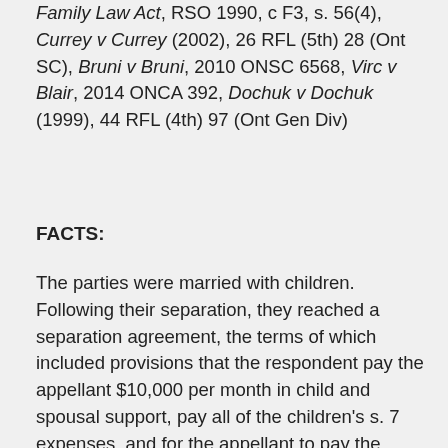Family Law Act, RSO 1990, c F3, s. 56(4), Currey v Currey (2002), 26 RFL (5th) 28 (Ont SC), Bruni v Bruni, 2010 ONSC 6568, Virc v Blair, 2014 ONCA 392, Dochuk v Dochuk (1999), 44 RFL (4th) 97 (Ont Gen Div)
FACTS:
The parties were married with children. Following their separation, they reached a separation agreement, the terms of which included provisions that the respondent pay the appellant $10,000 per month in child and spousal support, pay all of the children's s. 7 expenses, and for the appellant to pay the respondent an equalization payment. Later, the appellant sought an order setting aside the agreement under s. 56(4) of the Family Law Act, on the basis that the respondent failed to disclose significant assets. The appellant sought orders equalizing net family property (NFP), imputing income to the respondent, and fixing increased spousal and child support.